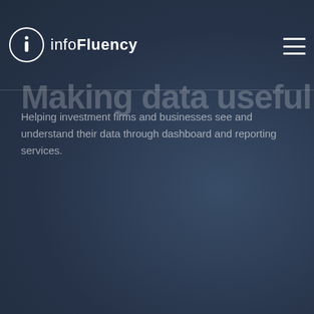infoFluency
Making data useful
Helping investment firms and businesses see and understand their data through dashboard and reporting services.